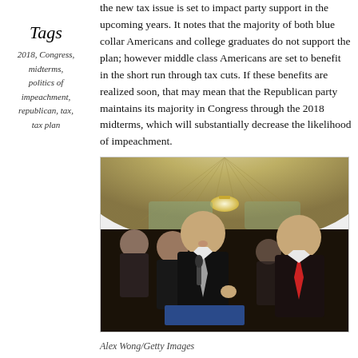Tags
2018, Congress, midterms, politics of impeachment, republican, tax, tax plan
the new tax issue is set to impact party support in the upcoming years. It notes that the majority of both blue collar Americans and college graduates do not support the plan; however middle class Americans are set to benefit in the short run through tax cuts. If these benefits are realized soon, that may mean that the Republican party maintains its majority in Congress through the 2018 midterms, which will substantially decrease the likelihood of impeachment.
[Figure (photo): Photo of politicians at a press conference, including two men in suits speaking at a microphone, with a chandelier and ornate ceiling visible in the background. One man wears a gray tie, the other wears a red tie. Photo credited to Alex Wong/Getty Images.]
Alex Wong/Getty Images